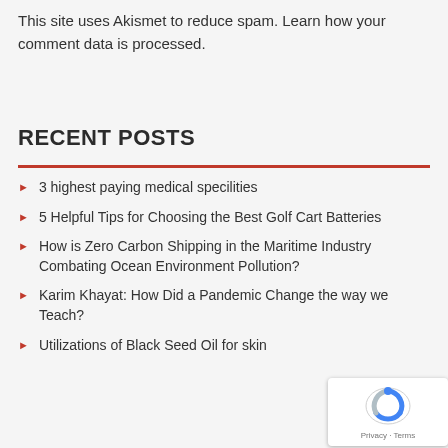This site uses Akismet to reduce spam. Learn how your comment data is processed.
RECENT POSTS
3 highest paying medical specilities
5 Helpful Tips for Choosing the Best Golf Cart Batteries
How is Zero Carbon Shipping in the Maritime Industry Combating Ocean Environment Pollution?
Karim Khayat: How Did a Pandemic Change the way we Teach?
Utilizations of Black Seed Oil for skin